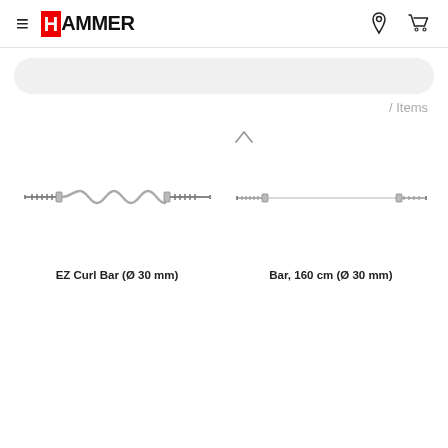≡ HAMMER
/ Items
[Figure (photo): EZ Curl Bar chrome with wavy grip section, diameter 30mm]
EZ Curl Bar (Ø 30 mm)
[Figure (photo): Straight barbell bar 160 cm chrome, diameter 30mm]
Bar, 160 cm (Ø 30 mm)